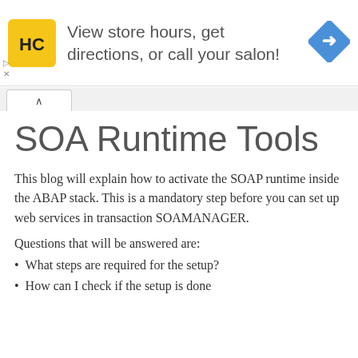[Figure (infographic): Ad banner with HC (Hair Club) logo in yellow square, text 'View store hours, get directions, or call your salon!', and a blue navigation arrow icon on the right.]
SOA Runtime Tools
This blog will explain how to activate the SOAP runtime inside the ABAP stack. This is a mandatory step before you can set up web services in transaction SOAMANAGER.
Questions that will be answered are:
What steps are required for the setup?
How can I check if the setup is done